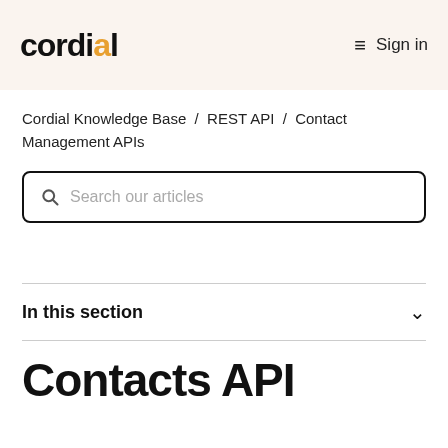cordial  ≡  Sign in
Cordial Knowledge Base / REST API / Contact Management APIs
Search our articles
In this section
Contacts API